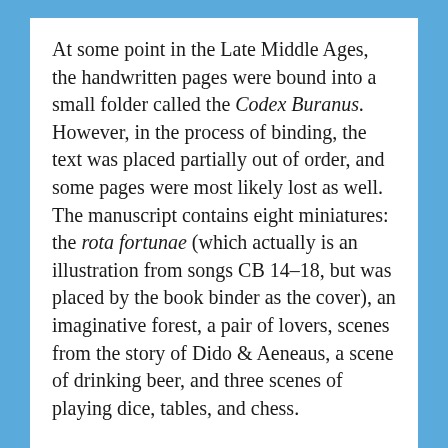At some point in the Late Middle Ages, the handwritten pages were bound into a small folder called the Codex Buranus. However, in the process of binding, the text was placed partially out of order, and some pages were most likely lost as well. The manuscript contains eight miniatures: the rota fortunae (which actually is an illustration from songs CB 14–18, but was placed by the book binder as the cover), an imaginative forest, a pair of lovers, scenes from the story of Dido & Aeneaus, a scene of drinking beer, and three scenes of playing dice, tables, and chess.
Older research assumed that the manuscript was written in Benediktbeuern where it was found. Today, however, Carmina Burana scholars